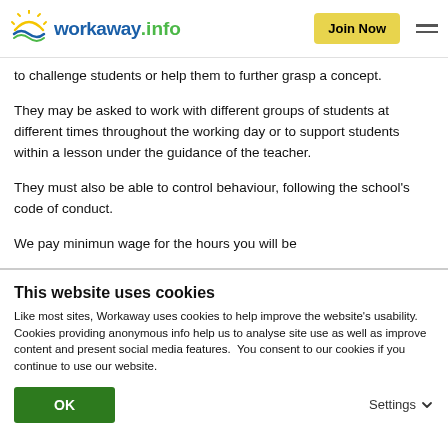workaway.info | Join Now
to challenge students or help them to further grasp a concept.
They may be asked to work with different groups of students at different times throughout the working day or to support students within a lesson under the guidance of the teacher.
They must also be able to control behaviour, following the school's code of conduct.
We pay minimun wage for the hours you will be
This website uses cookies
Like most sites, Workaway uses cookies to help improve the website's usability. Cookies providing anonymous info help us to analyse site use as well as improve content and present social media features.  You consent to our cookies if you continue to use our website.
OK
Settings